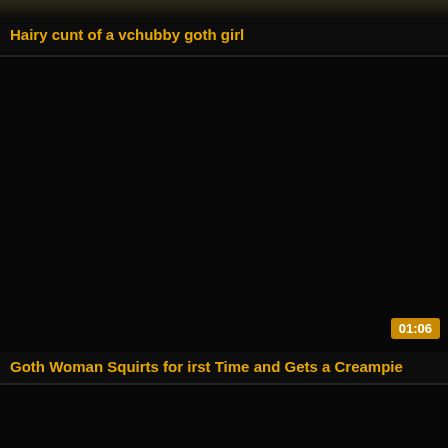[Figure (screenshot): Video thumbnail top portion showing partial dark image]
Hairy cunt of a vchubby goth girl
[Figure (screenshot): Dark black video thumbnail with duration badge 01:06]
Goth Woman Squirts for irst Time and Gets a Creampie
[Figure (screenshot): Dark black video thumbnail, partially visible]